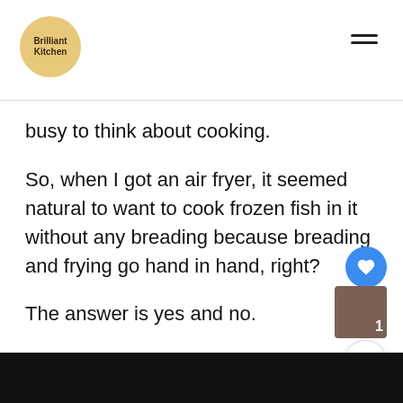Brilliant Kitchen
busy to think about cooking.
So, when I got an air fryer, it seemed natural to want to cook frozen fish in it without any breading because breading and frying go hand in hand, right?
The answer is yes and no.
I tried cooking frozen breaded fish fillets, and the breading fell off!